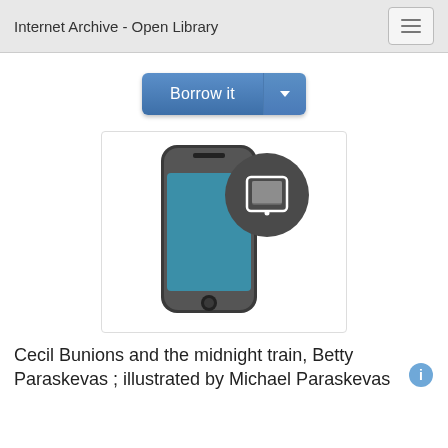Internet Archive - Open Library
[Figure (screenshot): Borrow it button with dropdown arrow, blue gradient styling]
[Figure (illustration): A smartphone icon with a dark circular tablet/device badge overlapping in the upper right, inside a rounded white box]
Cecil Bunions and the midnight train, Betty Paraskevas ; illustrated by Michael Paraskevas